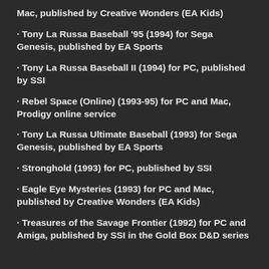Mac, published by Creative Wonders (EA Kids)
· Tony La Russa Baseball '95 (1994) for Sega Genesis, published by EA Sports
· Tony La Russa Baseball II (1994) for PC, published by SSI
· Rebel Space (Online) (1993-95) for PC and Mac, Prodigy online service
· Tony La Russa Ultimate Baseball (1993) for Sega Genesis, published by EA Sports
· Stronghold (1993) for PC, published by SSI
· Eagle Eye Mysteries (1993) for PC and Mac, published by Creative Wonders (EA Kids)
· Treasures of the Savage Frontier (1992) for PC and Amiga, published by SSI in the Gold Box D&D series